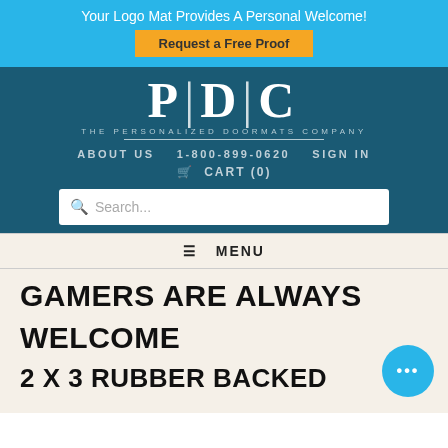Your Logo Mat Provides A Personal Welcome!
Request a Free Proof
[Figure (logo): PDC - The Personalized Doormats Company logo, white text on dark teal background]
ABOUT US   1-800-899-0620   SIGN IN
🛒 CART (0)
Search...
≡  MENU
GAMERS ARE ALWAYS WELCOME 2 X 3 RUBBER BACKED